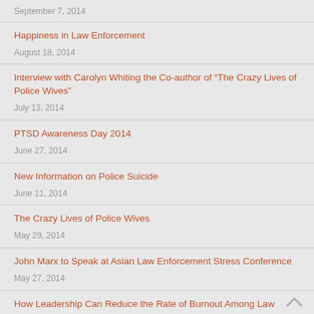September 7, 2014
Happiness in Law Enforcement
August 18, 2014
Interview with Carolyn Whiting the Co-author of “The Crazy Lives of Police Wives”
July 13, 2014
PTSD Awareness Day 2014
June 27, 2014
New Information on Police Suicide
June 11, 2014
The Crazy Lives of Police Wives
May 29, 2014
John Marx to Speak at Asian Law Enforcement Stress Conference
May 27, 2014
How Leadership Can Reduce the Rate of Burnout Among Law